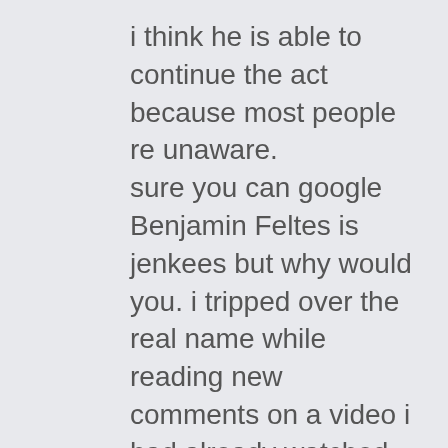i think he is able to continue the act because most people re unaware. sure you can google Benjamin Feltes is jenkees but why would you. i tripped over the real name while reading new comments on a video i had already watched several times. there at times when i expect fakes and times when i dont...and this time i didnt.. the awkward nerd approach was fairly clever since we all know what benefit a false kindness might be but since hes wrapped his heartwarming sweet nothings